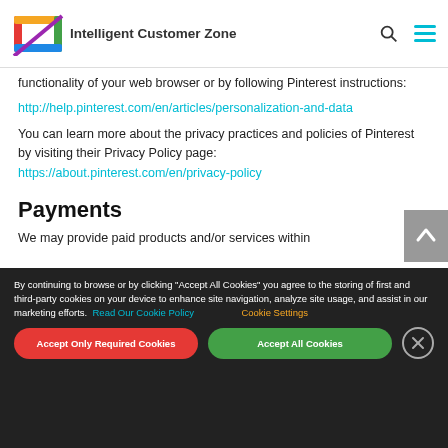Intelligent Customer Zone
functionality of your web browser or by following Pinterest instructions:
http://help.pinterest.com/en/articles/personalization-and-data
You can learn more about the privacy practices and policies of Pinterest by visiting their Privacy Policy page: https://about.pinterest.com/en/privacy-policy
Payments
We may provide paid products and/or services within
By continuing to browse or by clicking "Accept All Cookies" you agree to the storing of first and third-party cookies on your device to enhance site navigation, analyze site usage, and assist in our marketing efforts. Read Our Cookie Policy Cookie Settings
Accept Only Required Cookies
Accept All Cookies